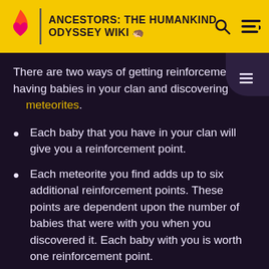ANCESTORS: THE HUMANKIND ODYSSEY WIKI
There are two ways of getting reinforcements: having babies in your clan and discovering meteorites.
Each baby that you have in your clan will give you a reinforcement point.
Each meteorite you find adds up to six additional reinforcement points. These points are dependent upon the number of babies that were with you when you discovered it. Each baby with you is worth one reinforcement point.
It is possible to accumulate a large amount of reinforcement points for a single generation with meteorites but don't waste these points. Make sure you have enough neurons to reinforce before discovering meteorites so you don't end up wasting reinforcement